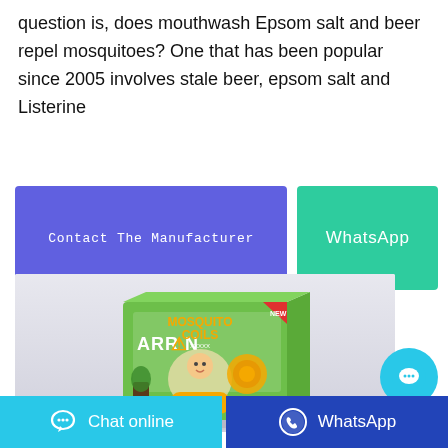question is, does mouthwash Epsom salt and beer repel mosquitoes? One that has been popular since 2005 involves stale beer, epsom salt and Listerine
Contact The Manufacturer
WhatsApp
[Figure (photo): Product box of Arrow Mosquito Coils, a green branded package featuring a baby and aloe vera plant image.]
Chat online
WhatsApp